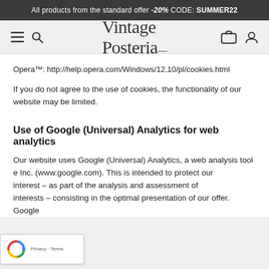All products from the standard offer -20% CODE: SUMMER22
[Figure (logo): Vintage Posteria script logo with navigation icons (hamburger menu, search, basket, user account)]
Opera™: http://help.opera.com/Windows/12.10/pl/cookies.html
If you do not agree to the use of cookies, the functionality of our website may be limited.
Use of Google (Universal) Analytics for web analytics
Our website uses Google (Universal) Analytics, a web analysis tool e Inc. (www.google.com). This is intended to protect our interest – as part of the analysis and assessment of interests – consisting in the optimal presentation of our offer. Google